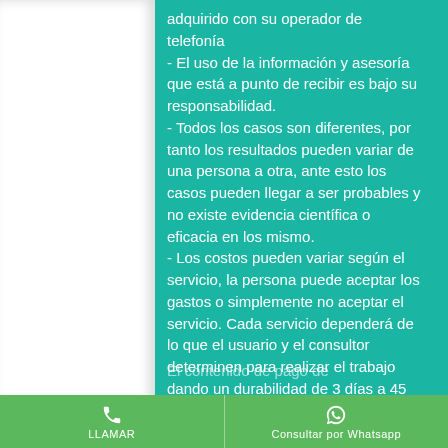adquirido con su operador de telefonía
- El uso de la información y asesoría que está a punto de recibir es bajo su responsabilidad.
- Todos los casos son diferentes, por tanto los resultados pueden variar de una persona a otra, ante esto los casos pueden llegar a ser probables y no existe evidencia científica o eficacia en los mismo.
- Los costos pueden variar según el servicio, la persona puede aceptar los gastos o simplemente no aceptar el servicio. Cada servicio dependerá de lo que el usuario y el consultor determinen para realizar el trabajo dando un durabilidad de 3 días a 45 días; estos costos pueden oscilar en un rango de precios que van desde los $3USDhasta los $200.000 USD
El contenido de pago de...
[Figure (screenshot): Green bottom action bar with two buttons: LLAMAR (call, phone icon) on the left and Consultar por Whatsapp (WhatsApp icon) on the right]